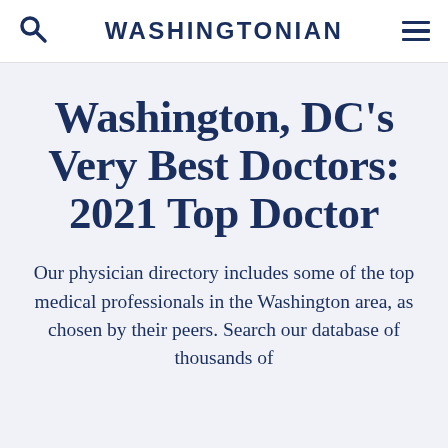WASHINGTONIAN
Washington, DC's Very Best Doctors: 2021 Top Doctor
Our physician directory includes some of the top medical professionals in the Washington area, as chosen by their peers. Search our database of thousands of